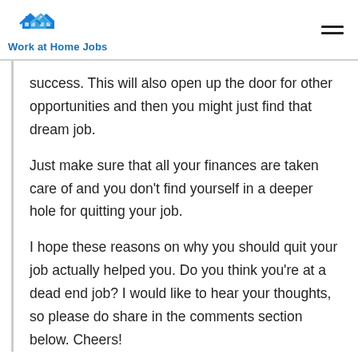Work at Home Jobs
success. This will also open up the door for other opportunities and then you might just find that dream job.
Just make sure that all your finances are taken care of and you don’t find yourself in a deeper hole for quitting your job.
I hope these reasons on why you should quit your job actually helped you. Do you think you’re at a dead end job? I would like to hear your thoughts, so please do share in the comments section below. Cheers!